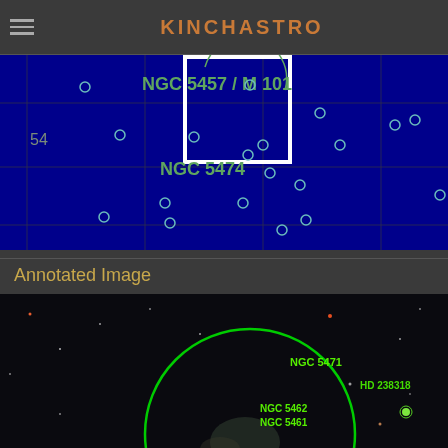KINCHASTRO
[Figure (map): Star chart showing NGC 5457 / M 101 and NGC 5474 with a white rectangle highlighting a region. Blue background with grid lines and small circle markers for stars.]
Annotated Image
[Figure (photo): Annotated astrophotograph showing NGC 5471, NGC 5462, NGC 5461, HD 238318 labels with green circle annotation overlay on a deep space image.]